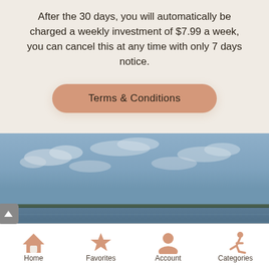After the 30 days, you will automatically be charged a weekly investment of $7.99 a week, you can cancel this at any time with only 7 days notice.
Terms & Conditions
[Figure (photo): Outdoor coastal landscape photo showing blue sky with light clouds above a calm sea/bay with a distant shoreline and some foreground element (possibly a hand).]
Home   Favorites   Account   Categories